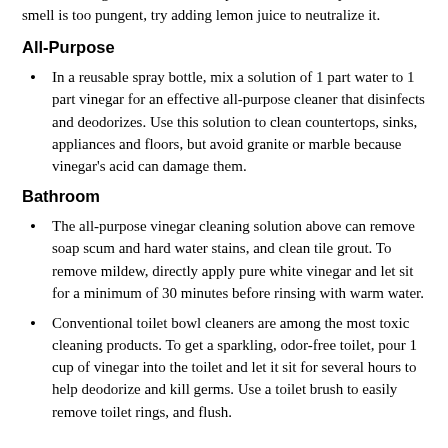overwhelming, but the smell dissipates as it dries. If you find the smell is too pungent, try adding lemon juice to neutralize it.
All-Purpose
In a reusable spray bottle, mix a solution of 1 part water to 1 part vinegar for an effective all-purpose cleaner that disinfects and deodorizes. Use this solution to clean countertops, sinks, appliances and floors, but avoid granite or marble because vinegar's acid can damage them.
Bathroom
The all-purpose vinegar cleaning solution above can remove soap scum and hard water stains, and clean tile grout. To remove mildew, directly apply pure white vinegar and let sit for a minimum of 30 minutes before rinsing with warm water.
Conventional toilet bowl cleaners are among the most toxic cleaning products. To get a sparkling, odor-free toilet, pour 1 cup of vinegar into the toilet and let it sit for several hours to help deodorize and kill germs. Use a toilet brush to easily remove toilet rings, and flush.